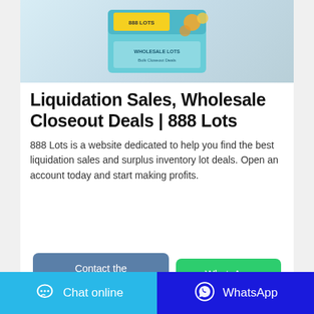[Figure (photo): Product image of a packaged item (appears to be baby diapers/nappies box with teal/cyan packaging and branded label visible at top)]
Liquidation Sales, Wholesale Closeout Deals | 888 Lots
888 Lots is a website dedicated to help you find the best liquidation sales and surplus inventory lot deals. Open an account today and start making profits.
Contact the manufacturer | WhatsApp (buttons)
Chat online | WhatsApp (bottom bar buttons)